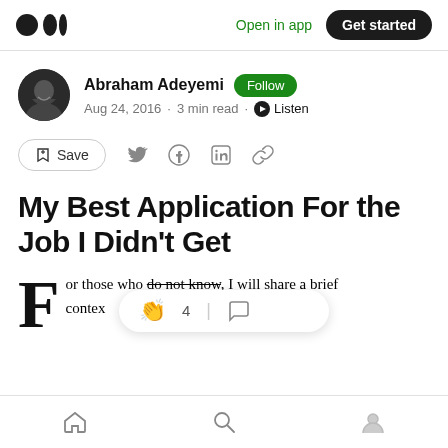Medium logo | Open in app | Get started
Abraham Adeyemi · Follow · Aug 24, 2016 · 3 min read · Listen
Save (social share icons)
My Best Application For the Job I Didn't Get
For those who do not know, I will share a brief context of myself. An
Home | Search | Profile